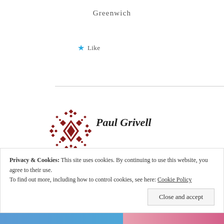Greenwich
Like
Paul Grivell
SEPTEMBER 18, 2015 AT 7:23 AM
PGCE (post compulsory art and design) Northbrook College,
Privacy & Cookies: This site uses cookies. By continuing to use this website, you agree to their use.
To find out more, including how to control cookies, see here: Cookie Policy
Close and accept